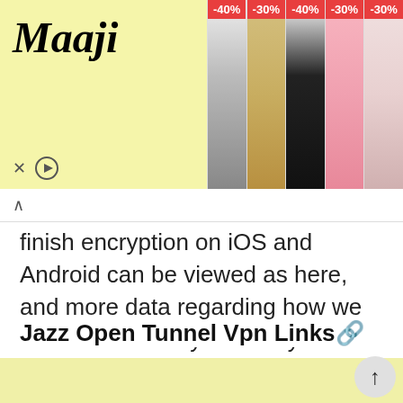[Figure (screenshot): Advertisement banner for Maaji swimwear showing logo on yellow background on the left and 5 product images with discount tags (-40%, -30%, -40%, -30%, -30%) on the right]
finish encryption on iOS and Android can be viewed as here, and more data regarding how we assembled it very well may be seen as here.
Jazz Open Tunnel Vpn Links🔗
[Figure (other): Yellow/cream colored advertisement block at the bottom of the page]
[Figure (other): Scroll to top button (↑) in the bottom right corner]